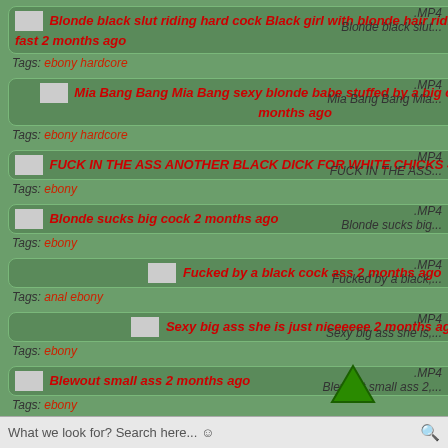Blonde black slut riding hard cock Black girl with blonde hair riding cock hard and fast 2 months ago Tags: ebony hardcore .MP4 Blonde black slut...
Mia Bang Bang Mia Bang sexy blonde babe stuffed by a big cock in her ass 2 months ago Tags: ebony hardcore .MP4 Mia Bang Bang Mia...
FUCK IN THE ASS ANOTHER BLACK DICK FOR WHITE CHICKS 4 months ago Tags: ebony .MP4 FUCK IN THE ASS...
Blonde sucks big cock 2 months ago Tags: ebony .MP4 Blonde sucks big...
Fucked by a black cock ass 2 months ago Tags: anal ebony .MP4 Fucked by a black,...
Sexy big ass she is just niceeeee 2 months ago Tags: ebony .MP4 Sexy big ass she is,...
Blewout small ass 2 months ago Tags: ebony .MP4 Blewout small ass 2,...
Top Traders:
What we look for? Search here... ☺